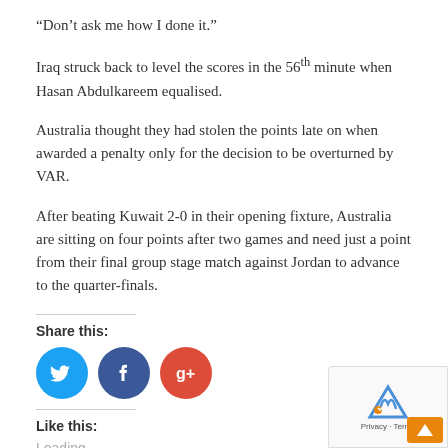“Don’t ask me how I done it.”
Iraq struck back to level the scores in the 56th minute when Hasan Abdulkareem equalised.
Australia thought they had stolen the points late on when awarded a penalty only for the decision to be overturned by VAR.
After beating Kuwait 2-0 in their opening fixture, Australia are sitting on four points after two games and need just a point from their final group stage match against Jordan to advance to the quarter-finals.
Share this:
[Figure (other): Social media share buttons: Twitter (blue circle), Facebook (dark blue circle), Google+ (red circle)]
Like this:
Loading...